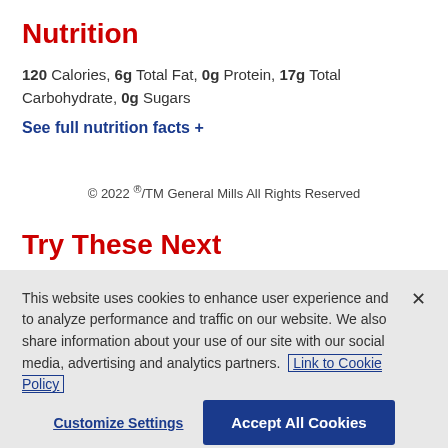Nutrition
120 Calories, 6g Total Fat, 0g Protein, 17g Total Carbohydrate, 0g Sugars
See full nutrition facts +
© 2022 ®/TM General Mills All Rights Reserved
Try These Next
This website uses cookies to enhance user experience and to analyze performance and traffic on our website. We also share information about your use of our site with our social media, advertising and analytics partners. Link to Cookie Policy
Customize Settings   Accept All Cookies